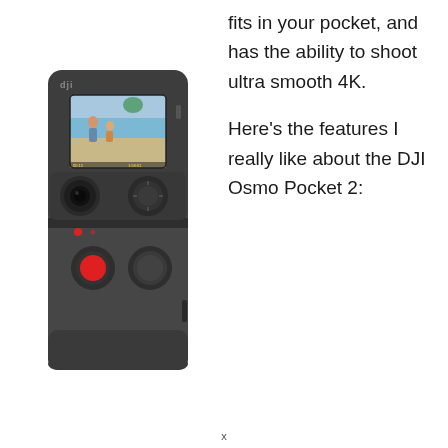[Figure (illustration): DJI Osmo Pocket 2 camera device, dark grey/charcoal color, shown front-facing. Has a small LCD screen at top showing a video clip of people on a beach, DJI logo, gimbal/lens assembly, red record button, two control buttons, and USB-C port at bottom.]
fits in your pocket, and has the ability to shoot ultra smooth 4K.
Here’s the features I really like about the DJI Osmo Pocket 2:
x